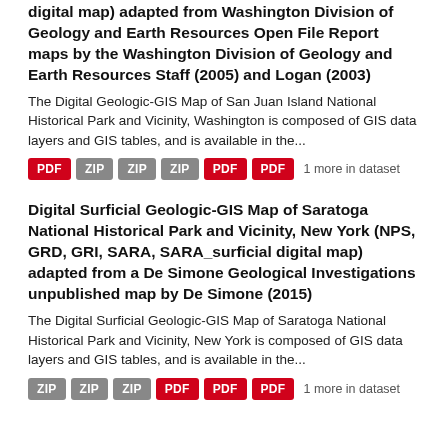digital map) adapted from Washington Division of Geology and Earth Resources Open File Report maps by the Washington Division of Geology and Earth Resources Staff (2005) and Logan (2003)
The Digital Geologic-GIS Map of San Juan Island National Historical Park and Vicinity, Washington is composed of GIS data layers and GIS tables, and is available in the...
PDF ZIP ZIP ZIP PDF PDF 1 more in dataset
Digital Surficial Geologic-GIS Map of Saratoga National Historical Park and Vicinity, New York (NPS, GRD, GRI, SARA, SARA_surficial digital map) adapted from a De Simone Geological Investigations unpublished map by De Simone (2015)
The Digital Surficial Geologic-GIS Map of Saratoga National Historical Park and Vicinity, New York is composed of GIS data layers and GIS tables, and is available in the...
ZIP ZIP ZIP PDF PDF PDF 1 more in dataset